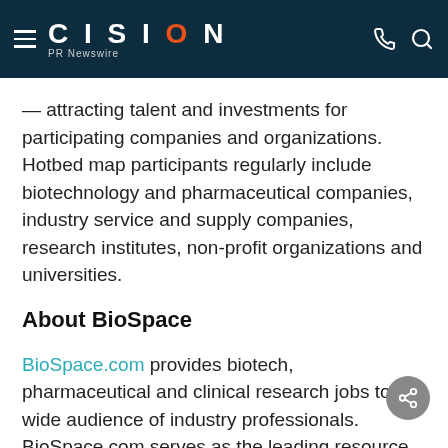CISION PR Newswire
— attracting talent and investments for participating companies and organizations. Hotbed map participants regularly include biotechnology and pharmaceutical companies, industry service and supply companies, research institutes, non-profit organizations and universities.
About BioSpace
BioSpace.com provides biotech, pharmaceutical and clinical research jobs to a wide audience of industry professionals. BioSpace.com serves as the leading resource for biotechnology careers, news and